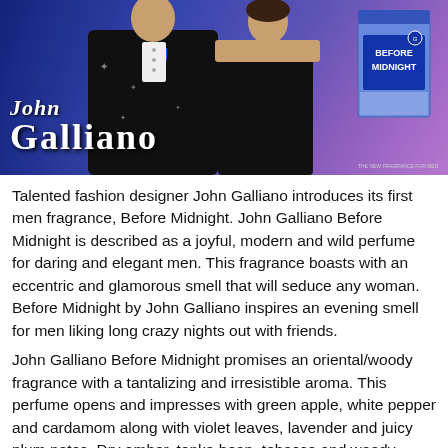[Figure (photo): John Galliano Before Midnight fragrance advertisement photo showing a man in a decorated black tuxedo with blue bow tie and a woman in a black off-shoulder outfit, with the perfume bottle visible on the right side. The brand name 'John Galliano' appears in stylized text overlay on the lower left.]
Talented fashion designer John Galliano introduces its first men fragrance, Before Midnight. John Galliano Before Midnight is described as a joyful, modern and wild perfume for daring and elegant men. This fragrance boasts with an eccentric and glamorous smell that will seduce any woman. Before Midnight by John Galliano inspires an evening smell for men liking long crazy nights out with friends.
John Galliano Before Midnight promises an oriental/woody fragrance with a tantalizing and irresistible aroma. This perfume opens and impresses with green apple, white pepper and cardamom along with violet leaves, lavender and juicy plum notes. Dry amber, tonka bean, tobacco and woody tones make the final note leave a long and strong impressive of a